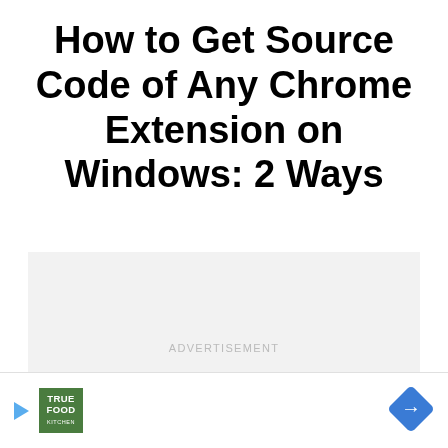How to Get Source Code of Any Chrome Extension on Windows: 2 Ways
[Figure (other): Advertisement placeholder block with light gray background and centered 'ADVERTISEMENT' label text]
[Figure (other): Bottom ad bar with play button arrow, True Food Kitchen green logo, and blue navigation diamond/arrow sign icon]